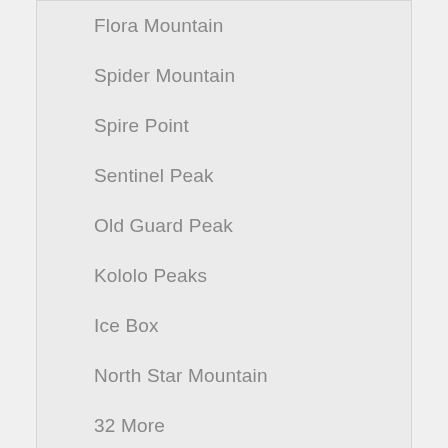Flora Mountain
Spider Mountain
Spire Point
Sentinel Peak
Old Guard Peak
Kololo Peaks
Ice Box
North Star Mountain
32 More
Ptarmigan Traverse
Mountains & Rocks
Dome Peak
Mount Formidable
Spider Mountain